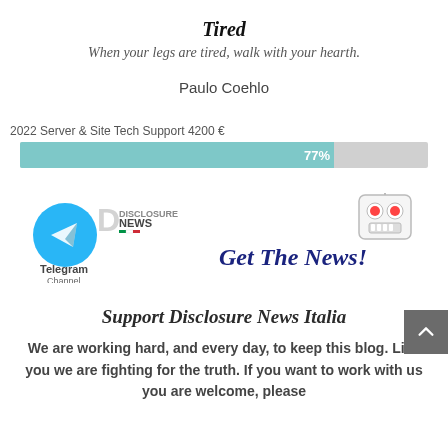Tired
When your legs are tired, walk with your hearth.
Paulo Coehlo
2022 Server & Site Tech Support 4200 €
[Figure (infographic): A horizontal progress bar showing 77% filled in teal/cyan color with '77%' label, remaining portion in light grey.]
[Figure (logo): Telegram Channel logo with Disclosure News Italia branding on the left, and a robot mascot with 'Get The News!' cursive text on the right.]
Support Disclosure News Italia
We are working hard, and every day, to keep this blog. Like you we are fighting for the truth. If you want to work with us you are welcome, please